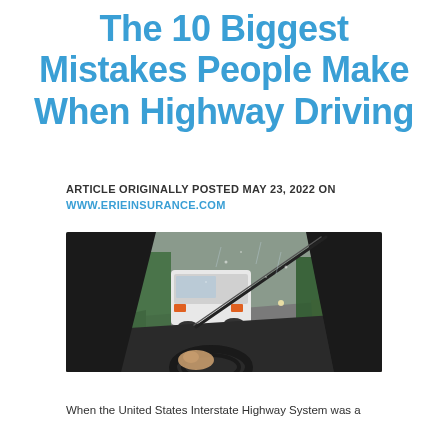The 10 Biggest Mistakes People Make When Highway Driving
ARTICLE ORIGINALLY POSTED MAY 23, 2022 ON
WWW.ERIEINSURANCE.COM
[Figure (photo): View from inside a car on a rainy highway, showing a white van in the left lane, rain on the windshield with wiper visible, green trees lining the road, and the driver's hand on the steering wheel.]
When the United States Interstate Highway System was a